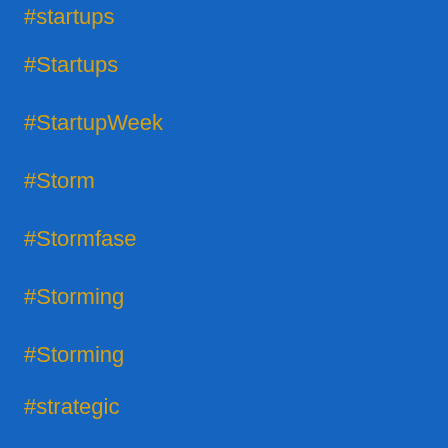#startups
#Startups
#StartupWeek
#Storm
#Stormfase
#Storming
#Storming
#strategic
#Strategic
#strategic